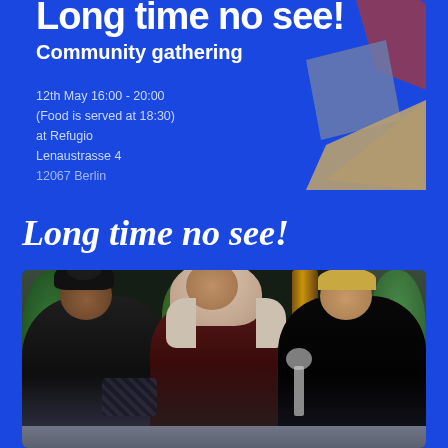[Figure (infographic): Blue event flyer card showing 'Long time no see!' title (cropped at top), 'Community gathering' subtitle, date/time/location details, and abstract geometric shapes in upper right corner]
Long time no see!
[Figure (photo): Photo of three women sitting together on a couch/sofa in what appears to be a cafe or community space with plants and a chalkboard in the background. Left woman has dark curly hair and wears a dark turtleneck. Center woman wears a hijab and light top. Right woman has blonde hair and wears a dark shawl.]